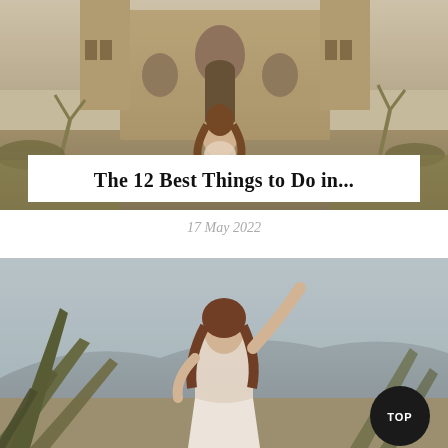[Figure (photo): Woman sitting in front of an ornate stone church/cathedral with cactus plants and desert vegetation in the foreground, warm sepia-toned travel photo]
The 12 Best Things to Do in...
17 May 2022
[Figure (photo): Woman smiling and raising one arm up, standing among large agave/yucca plants with mountains visible in the background, desert landscape travel photo]